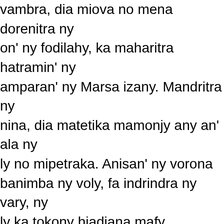vambra, dia miova no mena dorenitra ny on' ny fodilahy, ka maharitra hatramin' ny amparan' ny Marsa izany. Mandritra ny nina, dia matetika mamonjy any an' ala ny ly no mipetraka. Anisan' ny vorona banimba ny voly, fa indrindra ny vary, ny ly ka tokony hiadiana mafy
[Richardson 1885] the Madagascar cardinal-bird, a species of weaver-finch. Foudia madagascariensis. It is also called the rice-bird, from the destruction it sometimes causes to the rice crops. During the breeding season the male bird is, except the wings, of a brilliant scarlet colour
also another species of weaver-finch. Ploceus algondae
[Bellanger 1973] the rice-sparrow (the male is red in summer)
[Cardinal 1888] cardinal. Foudia madagascariensis
[Rajemisa: Vakoka] cardinal
[Bellanger 1974] petit oiseau qui fréquente les rizières : le mâle est rouge en été
[Malzac 1907] Nom d'un petit oiseau dont le